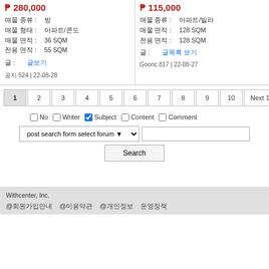₱ 280,000
매물 종류: 방
매물 형태: 아파트/콘도
매물 면적: 36 SQM
전용 면적: 55 SQM
글: 글보기
공지 524 | 22-08-28
₱ 115,000
매물 종류: 아파트/빌라
매물 면적: 128 SQM
전용 면적: 128 SQM
글: 글목록 보기
Goonc 817 | 22-08-27
1 2 3 4 5 6 7 8 9 10 Next 10 >>
No  Writer  Subject  Content  Comment
post search form select forum
Search
Withcenter, Inc.
@회원가입안내  @이용약관  @개인정보  운영정책